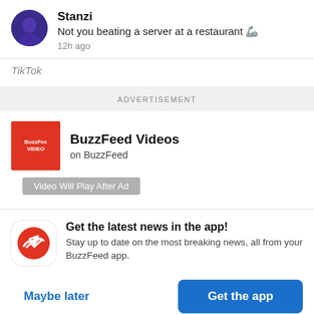Stanzi
Not you beating a server at a restaurant 🫵
12h ago
TikTok
ADVERTISEMENT
BuzzFeed Videos
on BuzzFeed
Video Will Play After Ad
Get the latest news in the app!
Stay up to date on the most breaking news, all from your BuzzFeed app.
Maybe later
Get the app